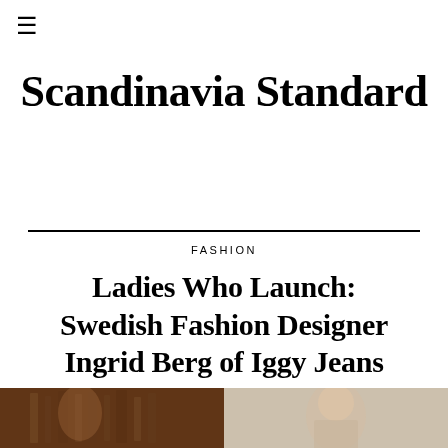≡
Scandinavia Standard
FASHION
Ladies Who Launch: Swedish Fashion Designer Ingrid Berg of Iggy Jeans
[Figure (photo): Two side-by-side photos at the bottom: left photo shows a person in a warmly lit interior space, right photo shows a person against a light background]